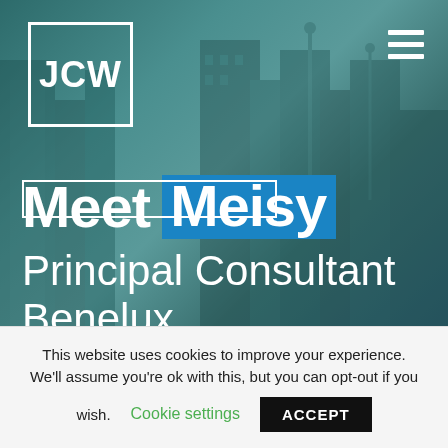[Figure (screenshot): JCW website screenshot with teal-tinted city building background. Logo 'JCW' in white square outline top left. Hamburger menu icon top right. Main text 'Meet Meisy' where Meisy is on blue background. Subtitle 'Principal Consultant Benelux'. Partial white outlined button visible at bottom of image area.]
This website uses cookies to improve your experience. We'll assume you're ok with this, but you can opt-out if you wish.
Cookie settings
ACCEPT